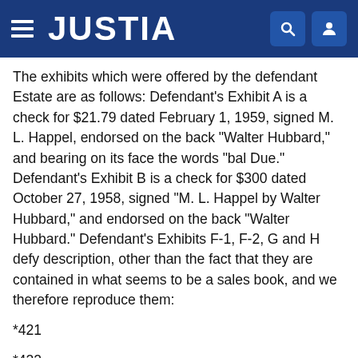JUSTIA
The exhibits which were offered by the defendant Estate are as follows: Defendant's Exhibit A is a check for $21.79 dated February 1, 1959, signed M. L. Happel, endorsed on the back "Walter Hubbard," and bearing on its face the words "bal Due." Defendant's Exhibit B is a check for $300 dated October 27, 1958, signed "M. L. Happel by Walter Hubbard," and endorsed on the back "Walter Hubbard." Defendant's Exhibits F-1, F-2, G and H defy description, other than the fact that they are contained in what seems to be a sales book, and we therefore reproduce them:
*421
*422
*423